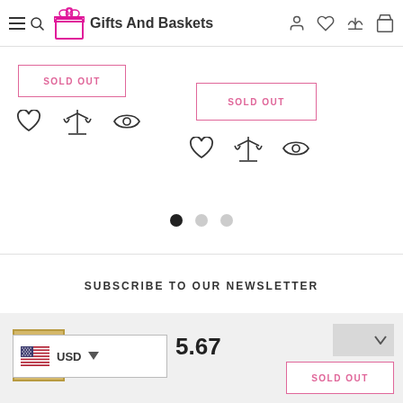Gifts And Baskets - navigation bar with menu, brand logo, account, wishlist, compare, and cart icons
[Figure (screenshot): Sold Out button (pink border) for left product card]
[Figure (screenshot): Heart, compare scales, and eye icons below left product]
[Figure (screenshot): Sold Out button (pink border) for right product card]
[Figure (screenshot): Heart, compare scales, and eye icons below right product]
[Figure (screenshot): Carousel dots: one filled black, two gray]
SUBSCRIBE TO OUR NEWSLETTER
[Figure (screenshot): Currency selector widget showing US flag and USD with dropdown arrow]
5.67
[Figure (screenshot): Sold Out button (pink border) at bottom right]
[Figure (screenshot): Dropdown widget gray box with chevron]